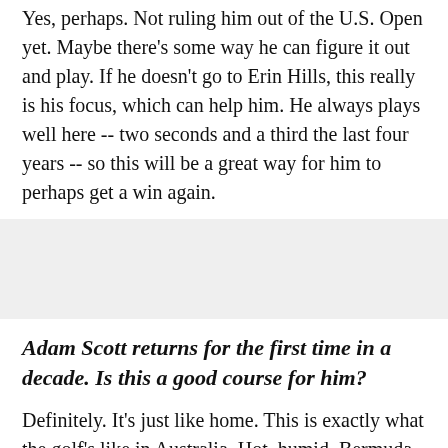Yes, perhaps. Not ruling him out of the U.S. Open yet. Maybe there's some way he can figure it out and play. If he doesn't go to Erin Hills, this really is his focus, which can help him. He always plays well here -- two seconds and a third the last four years -- so this will be a great way for him to perhaps get a win again.
[Figure (other): Gray background divider block]
Adam Scott returns for the first time in a decade. Is this a good course for him?
Definitely. It's just like home. This is exactly what the golf's like in Australia. Hot, humid, Bermuda grass, from fairways all the way...